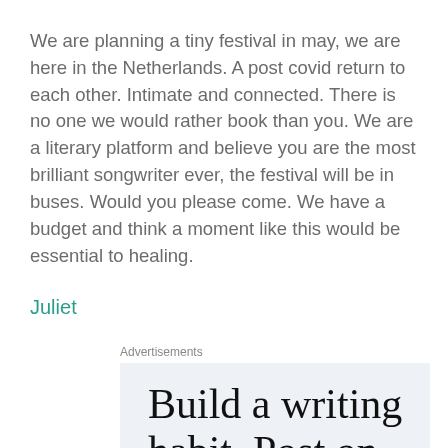We are planning a tiny festival in may, we are here in the Netherlands. A post covid return to each other. Intimate and connected. There is no one we would rather book than you. We are a literary platform and believe you are the most brilliant songwriter ever, the festival will be in buses. Would you please come. We have a budget and think a moment like this would be essential to healing.
Juliet
Advertisements
[Figure (other): Advertisement banner with text 'Build a writing habit. Post on the go.' on a light blue-gray background]